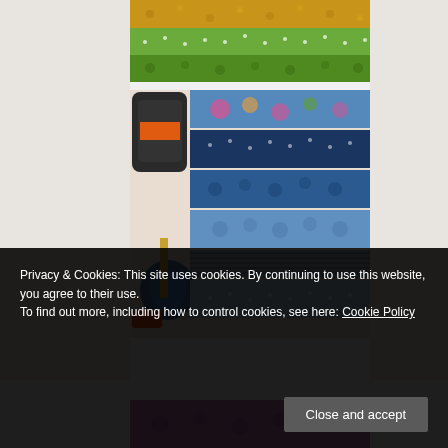[Figure (photo): Top image: horizontal strips of colorful fabric — yellow floral, green dotted, green patterned]
[Figure (photo): Middle image: blue embroidery thread spool and floss beside stacked blue and floral fabric strips on a light surface]
[Figure (photo): Bottom image: partially visible purple/pink floral fabric strip]
Privacy & Cookies: This site uses cookies. By continuing to use this website, you agree to their use.
To find out more, including how to control cookies, see here: Cookie Policy
Close and accept